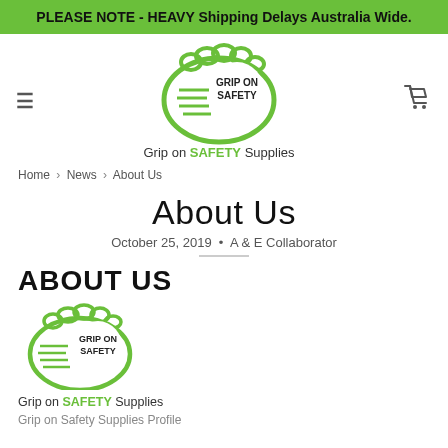PLEASE NOTE - HEAVY Shipping Delays Australia Wide.
[Figure (logo): Grip on Safety logo — bootprint shape in green with text GRIP ON SAFETY inside, tagline: Grip on SAFETY Supplies]
Home › News › About Us
About Us
October 25, 2019 · A & E Collaborator
ABOUT US
[Figure (logo): Grip on Safety logo (smaller) — bootprint shape in green with text GRIP ON SAFETY inside, tagline: Grip on SAFETY Supplies]
Grip on Safety Supplies Profile